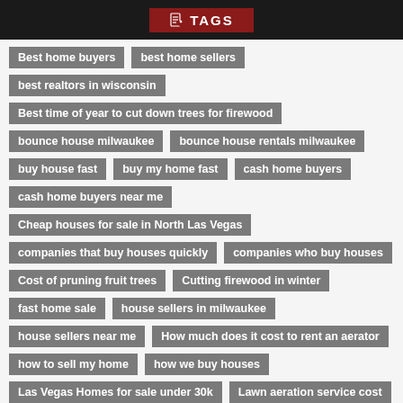TAGS
Best home buyers
best home sellers
best realtors in wisconsin
Best time of year to cut down trees for firewood
bounce house milwaukee
bounce house rentals milwaukee
buy house fast
buy my home fast
cash home buyers
cash home buyers near me
Cheap houses for sale in North Las Vegas
companies that buy houses quickly
companies who buy houses
Cost of pruning fruit trees
Cutting firewood in winter
fast home sale
house sellers in milwaukee
house sellers near me
How much does it cost to rent an aerator
how to sell my home
how we buy houses
Las Vegas Homes for sale under 30k
Lawn aeration service cost
Roofers
Roofers Near me
sell houses for cash
Sell my home fast
Sell Your House Fast
sell your house fast for cash